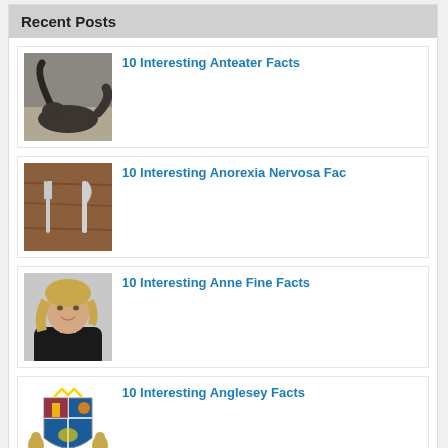Recent Posts
10 Interesting Anteater Facts
10 Interesting Anorexia Nervosa Fac
10 Interesting Anne Fine Facts
10 Interesting Anglesey Facts